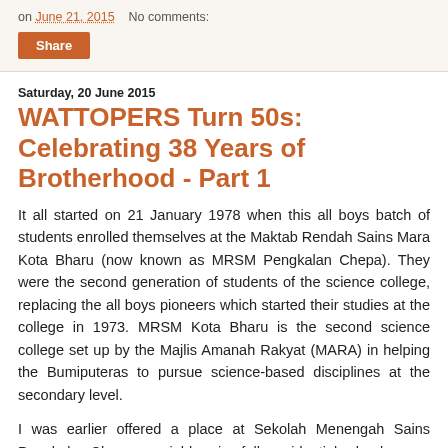on June 21, 2015   No comments:
Share
Saturday, 20 June 2015
WATTOPERS Turn 50s: Celebrating 38 Years of Brotherhood - Part 1
It all started on 21 January 1978 when this all boys batch of students enrolled themselves at the Maktab Rendah Sains Mara Kota Bharu (now known as MRSM Pengkalan Chepa). They were the second generation of students of the science college, replacing the all boys pioneers which started their studies at the college in 1973. MRSM Kota Bharu is the second science college set up by the Majlis Amanah Rakyat (MARA) in helping the Bumiputeras to pursue science-based disciplines at the secondary level.
I was earlier offered a place at Sekolah Menengah Sains Pengkalan Chepa, a neighbouring fully residential school.